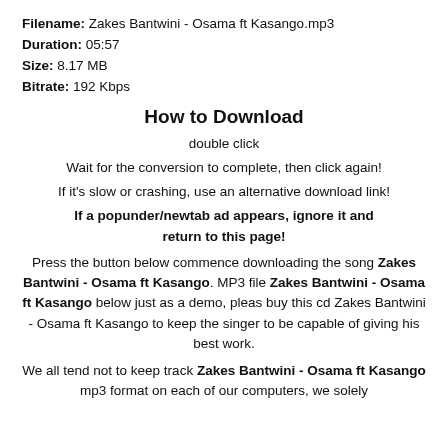Filename: Zakes Bantwini - Osama ft Kasango.mp3
Duration: 05:57
Size: 8.17 MB
Bitrate: 192 Kbps
How to Download
double click
Wait for the conversion to complete, then click again!
If it's slow or crashing, use an alternative download link!
If a popunder/newtab ad appears, ignore it and return to this page!
Press the button below commence downloading the song Zakes Bantwini - Osama ft Kasango. MP3 file Zakes Bantwini - Osama ft Kasango below just as a demo, pleas buy this cd Zakes Bantwini - Osama ft Kasango to keep the singer to be capable of giving his best work.
We all tend not to keep track Zakes Bantwini - Osama ft Kasango mp3 format on each of our computers, we solely